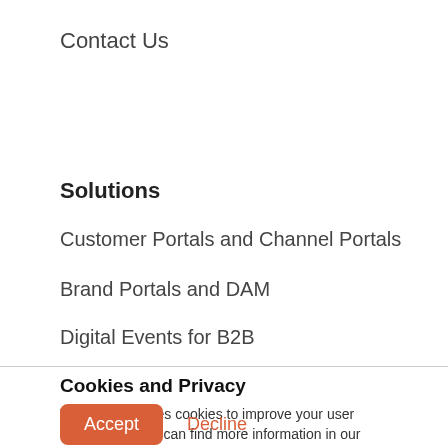Contact Us
Solutions
Customer Portals and Channel Portals
Brand Portals and DAM
Digital Events for B2B
Cookies and Privacy
This website uses cookies to improve your user experience. You can find more information in our Cookie Policy.
Accept  Decline